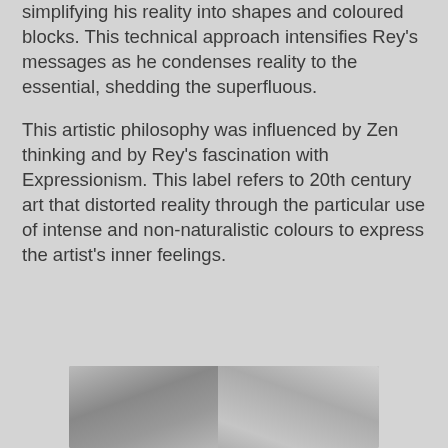simplifying his reality into shapes and coloured blocks. This technical approach intensifies Rey's messages as he condenses reality to the essential, shedding the superfluous.
This artistic philosophy was influenced by Zen thinking and by Rey's fascination with Expressionism. This label refers to 20th century art that distorted reality through the particular use of intense and non-naturalistic colours to express the artist's inner feelings.
[Figure (photo): A black and white photograph partially visible at the bottom of the page, showing abstract shapes divided into two panels.]